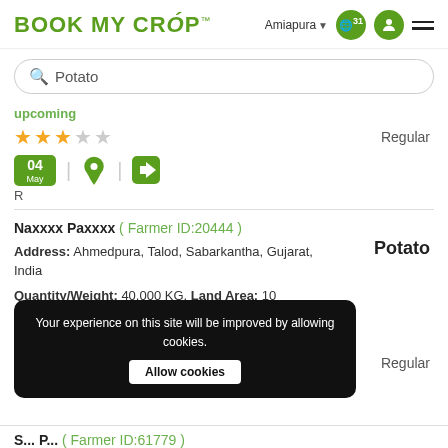BOOK MY CROP™ — Amiapura — navigation icons
Potato (search bar)
upcoming
[Figure (other): 3 filled stars and 2 empty stars rating display]
Regular
04 May — location icon — direction icon — R
Naxxxx Paxxxx ( Farmer ID:20444 )
Potato
Address: Ahmedpura, Talod, Sabarkantha, Gujarat, India
Quantity/Weight: 40,000 KG, Land Area: 10 Rate Per KG: N/A, Available Date: 15-Mar-2023 to 13-Jun-2023
upcoming
Regular
Your experience on this site will be improved by allowing cookies. Allow cookies
S... P... ( Farmer ID:61779 ) — partial row at bottom